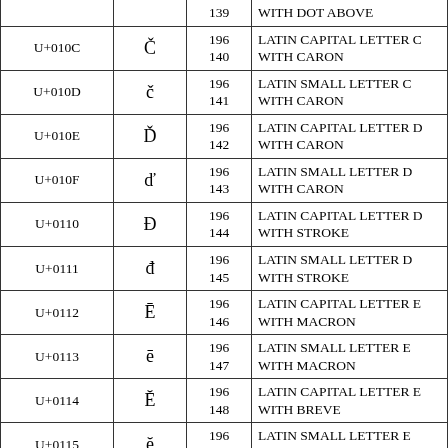| Unicode | Char | Bytes | Name |
| --- | --- | --- | --- |
| U+010C | Č | 196
140 | LATIN CAPITAL LETTER C WITH CARON |
| U+010D | č | 196
141 | LATIN SMALL LETTER C WITH CARON |
| U+010E | Ď | 196
142 | LATIN CAPITAL LETTER D WITH CARON |
| U+010F | ď | 196
143 | LATIN SMALL LETTER D WITH CARON |
| U+0110 | Đ | 196
144 | LATIN CAPITAL LETTER D WITH STROKE |
| U+0111 | đ | 196
145 | LATIN SMALL LETTER D WITH STROKE |
| U+0112 | Ē | 196
146 | LATIN CAPITAL LETTER E WITH MACRON |
| U+0113 | ē | 196
147 | LATIN SMALL LETTER E WITH MACRON |
| U+0114 | Ĕ | 196
148 | LATIN CAPITAL LETTER E WITH BREVE |
| U+0115 | ĕ | 196
149 | LATIN SMALL LETTER E WITH BREVE |
| U+0116 | Ė | 196
150 | LATIN CAPITAL LETTER E WITH DOT ABOVE |
| U+0117 | ė | 196
... | LATIN SMALL LETTER E ... |